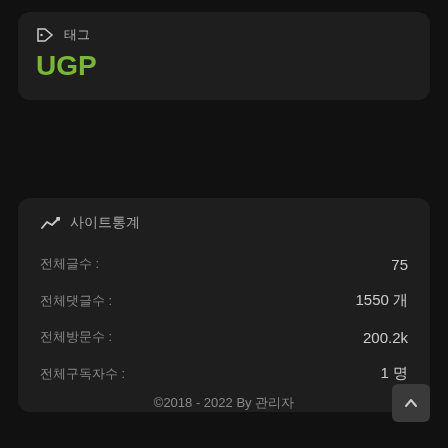태그
UGP
📈 사이트통계
| 항목 | 값 |
| --- | --- |
| 전체글수 : | 75 |
| 전체댓글수 : | 1550 개 |
| 전체방문수 : | 200.2k |
| 전체구독자수 : | 1 명 |
©2018 - 2022 By 관리자